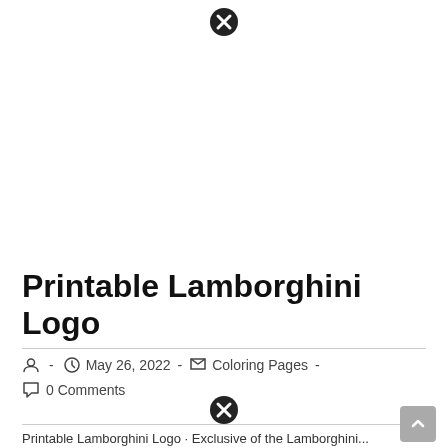[Figure (other): Close/dismiss button icon (circle with X) at top center]
Printable Lamborghini Logo
- May 26, 2022 - Coloring Pages - 0 Comments
[Figure (other): Close/dismiss button icon (circle with X) at bottom center]
Printable Lamborghini Logo · Exclusive of the Lamborghini...